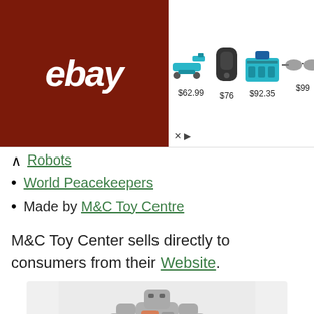[Figure (screenshot): eBay advertisement banner showing products with prices: $62.99 (power tool), $76 (speaker), $92.35 (tool kit), $99 (sunglasses), $128 (headphones), $119 (earbuds). Dark red eBay logo on the left.]
Robots (partially visible link)
World Peacekeepers
Made by M&C Toy Centre
M&C Toy Center sells directly to consumers from their Website.
[Figure (photo): A gray/silver robot action figure on a white/light gray background. The robot appears to be a large mech with a humanoid torso seated on or between large wheel-like legs.]